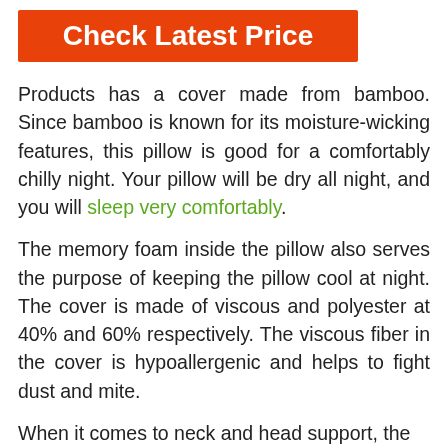[Figure (other): Orange/red button with white bold text reading 'Check Latest Price']
Products has a cover made from bamboo. Since bamboo is known for its moisture-wicking features, this pillow is good for a comfortably chilly night. Your pillow will be dry all night, and you will sleep very comfortably.
The memory foam inside the pillow also serves the purpose of keeping the pillow cool at night. The cover is made of viscous and polyester at 40% and 60% respectively. The viscous fiber in the cover is hypoallergenic and helps to fight dust and mite.
When it comes to neck and head support, the